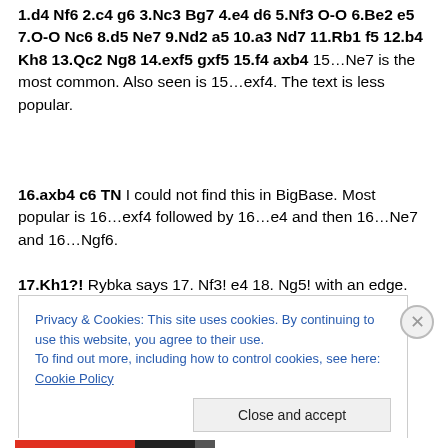1.d4 Nf6 2.c4 g6 3.Nc3 Bg7 4.e4 d6 5.Nf3 O-O 6.Be2 e5 7.O-O Nc6 8.d5 Ne7 9.Nd2 a5 10.a3 Nd7 11.Rb1 f5 12.b4 Kh8 13.Qc2 Ng8 14.exf5 gxf5 15.f4 axb4 15…Ne7 is the most common. Also seen is 15…exf4. The text is less popular.
16.axb4 c6 TN I could not find this in BigBase. Most popular is 16…exf4 followed by 16…e4 and then 16…Ne7 and 16…Ngf6.
17.Kh1?! Rybka says 17. Nf3! e4 18. Ng5! with an edge.
Privacy & Cookies: This site uses cookies. By continuing to use this website, you agree to their use.
To find out more, including how to control cookies, see here: Cookie Policy